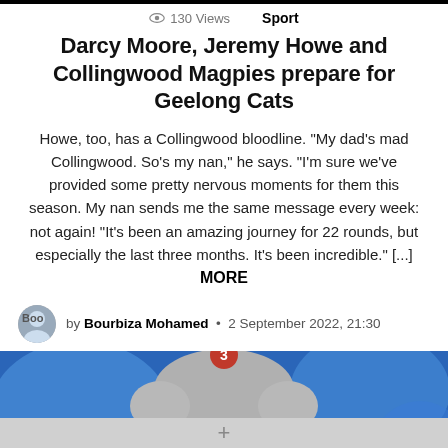130 Views   Sport
Darcy Moore, Jeremy Howe and Collingwood Magpies prepare for Geelong Cats
Howe, too, has a Collingwood bloodline. "My dad's mad Collingwood. So's my nan," he says. "I'm sure we've provided some pretty nervous moments for them this season. My nan sends me the same message every week: not again! "It's been an amazing journey for 22 rounds, but especially the last three months. It's been incredible." [...] MORE
by Bourbiza Mohamed • 2 September 2022, 21:30
[Figure (photo): Close-up photo of a grey-haired man (likely a football coach) in front of a blue background with abstract shapes. A red badge with the number 3 is overlaid at the top center.]